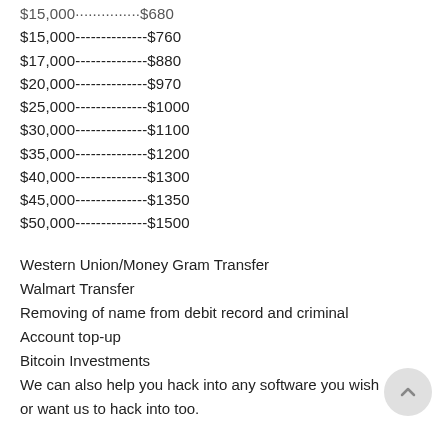$15,000-------------$680
$15,000-------------$760
$17,000-------------$880
$20,000-------------$970
$25,000-------------$1000
$30,000-------------$1100
$35,000-------------$1200
$40,000-------------$1300
$45,000-------------$1350
$50,000-------------$1500
Western Union/Money Gram Transfer
Walmart Transfer
Removing of name from debit record and criminal
Account top-up
Bitcoin Investments
We can also help you hack into any software you wish or want us to hack into too.